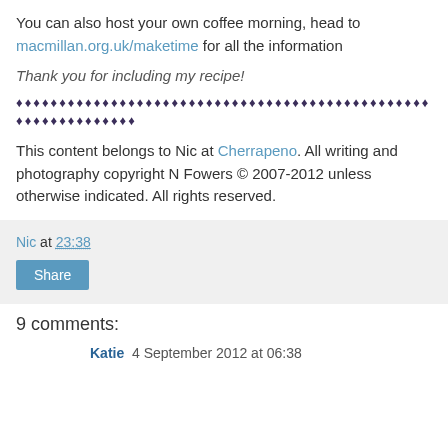You can also host your own coffee morning, head to macmillan.org.uk/maketime for all the information
Thank you for including my recipe!
♦♦♦♦♦♦♦♦♦♦♦♦♦♦♦♦♦♦♦♦♦♦♦♦♦♦♦♦♦♦♦♦♦♦♦♦♦♦♦♦♦♦♦♦♦♦♦♦♦♦♦♦♦♦♦♦♦♦♦♦♦♦
This content belongs to Nic at Cherrapeno. All writing and photography copyright N Fowers © 2007-2012 unless otherwise indicated. All rights reserved.
Nic at 23:38
Share
9 comments:
Katie  4 September 2012 at 06:38